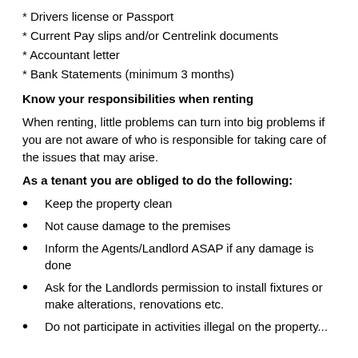* Drivers license or Passport
* Current Pay slips and/or Centrelink documents
* Accountant letter
* Bank Statements (minimum 3 months)
Know your responsibilities when renting
When renting, little problems can turn into big problems if you are not aware of who is responsible for taking care of the issues that may arise.
As a tenant you are obliged to do the following:
Keep the property clean
Not cause damage to the premises
Inform the Agents/Landlord ASAP if any damage is done
Ask for the Landlords permission to install fixtures or make alterations, renovations etc.
Do not participate in activities illegal on the property...